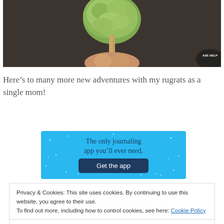[Figure (photo): A hand holding a green popsicle/ice cream on a stick, with a dark background and a partial circular badge in the bottom right corner reading 'ASE HELP']
Here’s to many more new adventures with my rugrats as a single mom!
[Figure (infographic): Light blue advertisement banner reading 'The only journaling app you’ll ever need.' with a dark blue 'Get the app' button and sparkle decorations]
Privacy & Cookies: This site uses cookies. By continuing to use this website, you agree to their use.
To find out more, including how to control cookies, see here: Cookie Policy
Close and accept